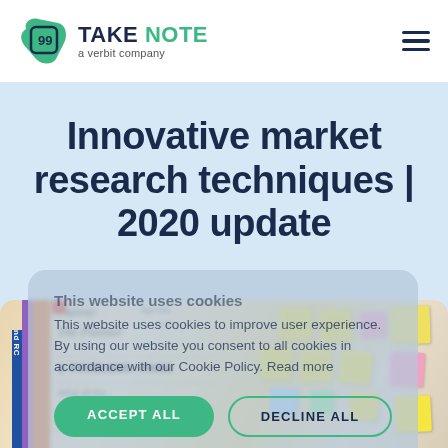TAKE NOTE a verbit company
Innovative market research techniques | 2020 update
This website uses cookies to improve user experience. By using our website you consent to all cookies in accordance with our Cookie Policy. Read more
ACCEPT ALL   DECLINE ALL   MANAGE COOKIES
[Figure (photo): Photo of a planning board/planner with sticky notes and handwritten text including 'The Planner', '2. PROBLEMS / PAINS', colored vertical bars on the left side]